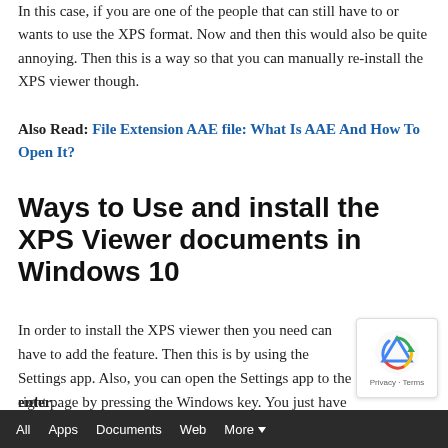In this case, if you are one of the people that can still have to or wants to use the XPS format. Now and then this would also be quite annoying. Then this is a way so that you can manually re-install the XPS viewer though.
Also Read: File Extension AAE file: What Is AAE And How To Open It?
Ways to Use and install the XPS Viewer documents in Windows 10
In order to install the XPS viewer then you need can have to add the feature. Then this is by using the Settings app. Also, you can open the Settings app to the right page by pressing the Windows key. You just have to type and then click on the Manage optional features and then you can hit the enter.